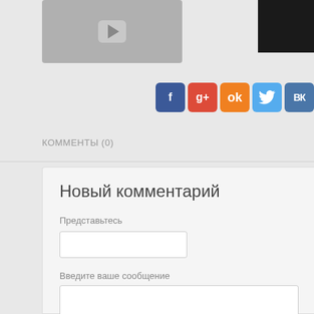[Figure (screenshot): Video thumbnail with play button (gray box with play arrow) on left, dark photo thumbnail on top right]
[Figure (infographic): Row of social media sharing icons: Facebook (blue), Google+ (red), Odnoklassniki (orange), Twitter (light blue), VKontakte (blue)]
КОММЕНТЫ (0)
Новый комментарий
Представьтесь
Введите ваше сообщение